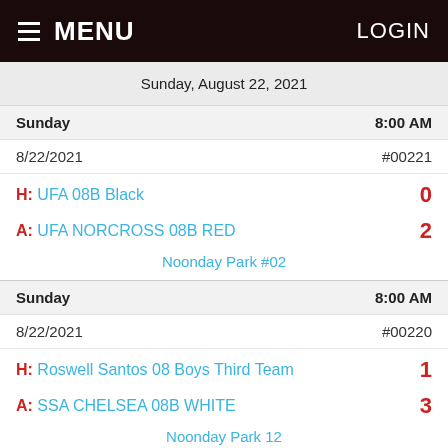MENU  LOGIN
Sunday, August 22, 2021
|  |  |
| --- | --- |
| Sunday | 8:00 AM |
| 8/22/2021 | #00221 |
| H: UFA 08B Black | 0 |
| A: UFA NORCROSS 08B RED | 2 |
| Noonday Park #02 |  |
|  |  |
| --- | --- |
| Sunday | 8:00 AM |
| 8/22/2021 | #00220 |
| H: Roswell Santos 08 Boys Third Team | 1 |
| A: SSA CHELSEA 08B WHITE | 3 |
| Noonday Park 12 |  |
Sunday  9:45 AM